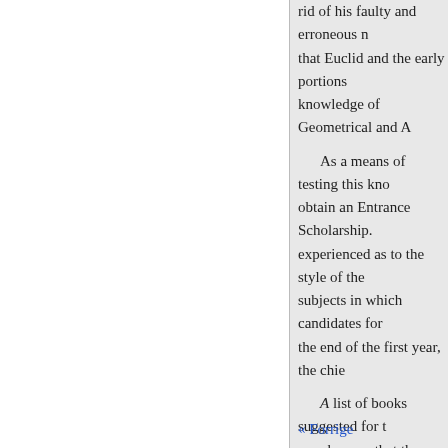rid of his faulty and erroneous n... that Euclid and the early portions... knowledge of Geometrical and A...
As a means of testing this kno... obtain an Entrance Scholarship. ... experienced as to the style of the... subjects in which candidates for... the end of the first year, the chie...
A list of books suggested for th... may happen that the student has... this list. And in
instances there will be no need w... the same time, some uniformity i... any subject. And those which are... the wants of our students. It wou... include the treatises here specifie...
The First Year's Examination s... may not defer this examination, a... time to master all the
« Forrige